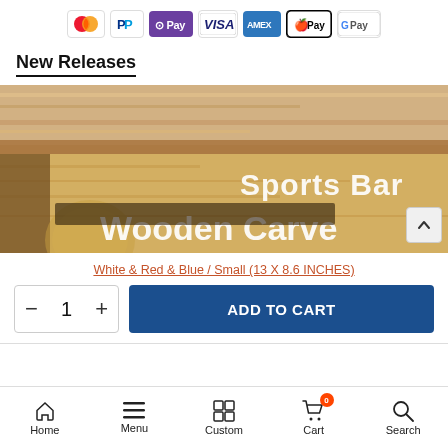[Figure (infographic): Payment method icons row: Mastercard, PayPal, OPay, VISA, AMEX, Apple Pay, Google Pay]
New Releases
[Figure (photo): Wooden carved sign for a Sports Bar, showing text 'Sports Bar' and 'Wooden Carve...' overlaid on a wood-grain background]
White & Red & Blue / Small (13 X 8.6 INCHES)
- 1 + ADD TO CART
Home  Menu  Custom  Cart  Search